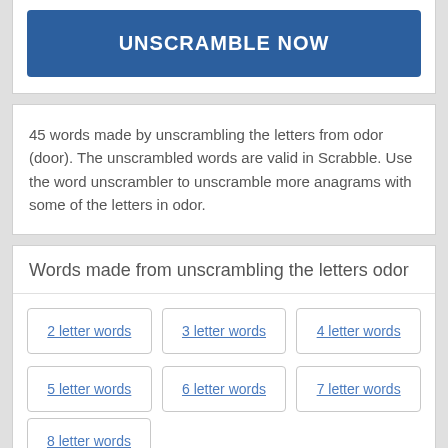UNSCRAMBLE NOW
45 words made by unscrambling the letters from odor (door). The unscrambled words are valid in Scrabble. Use the word unscrambler to unscramble more anagrams with some of the letters in odor.
Words made from unscrambling the letters odor
2 letter words
3 letter words
4 letter words
5 letter words
6 letter words
7 letter words